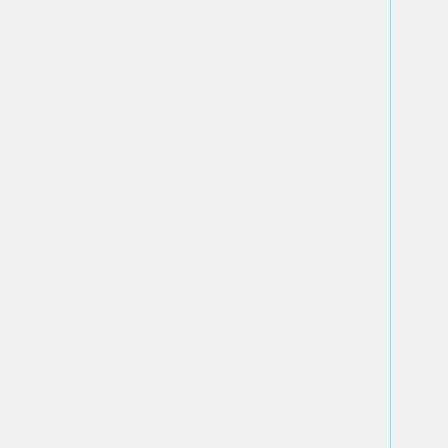| Category | Color coding |
| --- | --- |
|  | No=red | WIP=orange | Untested=yellow | N/A=lightgray yellow }}" | N/A= |
| PCI Express x16 add-on cards | OK=lime | TODO=red | No=red | WIP=orange | Untested=yellow | N/A=lightgray yellow }}" | OK |
| PCI Express x32 add-on cards | OK=lime | TODO=red | No=red | WIP=orange | Untested=yellow | N/A=lightgray yellow }}" | N/A |
| HTX add-on cards | OK=lime | TODO=red | No=red | WIP=orange | Untested=yel |